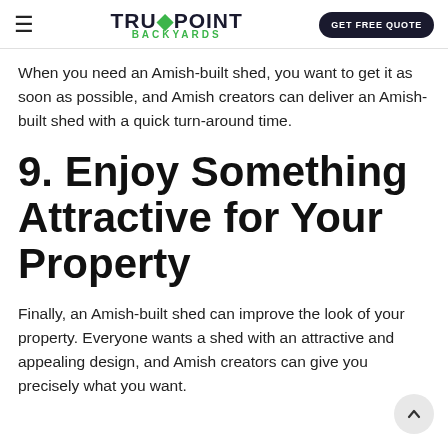TRU·POINT BACKYARDS | GET FREE QUOTE
When you need an Amish-built shed, you want to get it as soon as possible, and Amish creators can deliver an Amish-built shed with a quick turn-around time.
9. Enjoy Something Attractive for Your Property
Finally, an Amish-built shed can improve the look of your property. Everyone wants a shed with an attractive and appealing design, and Amish creators can give you precisely what you want.